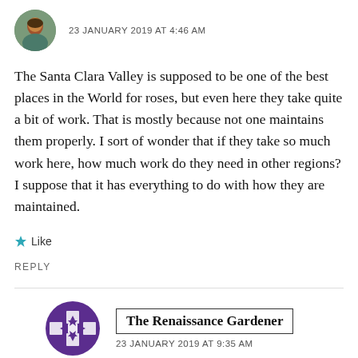23 JANUARY 2019 AT 4:46 AM
The Santa Clara Valley is supposed to be one of the best places in the World for roses, but even here they take quite a bit of work. That is mostly because not one maintains them properly. I sort of wonder that if they take so much work here, how much work do they need in other regions? I suppose that it has everything to do with how they are maintained.
Like
REPLY
The Renaissance Gardener
23 JANUARY 2019 AT 9:35 AM